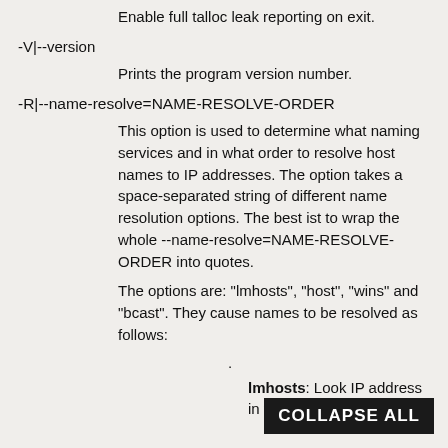Enable full talloc leak reporting on exit.
-V|--version
Prints the program version number.
-R|--name-resolve=NAME-RESOLVE-ORDER
This option is used to determine what naming services and in what order to resolve host names to IP addresses. The option takes a space-separated string of different name resolution options. The best ist to wrap the whole --name-resolve=NAME-RESOLVE-ORDER into quotes.
The options are: "lmhosts", "host", "wins" and "bcast". They cause names to be resolved as follows:
.
lmhosts: Look IP address in t Samba lmhosts file. It